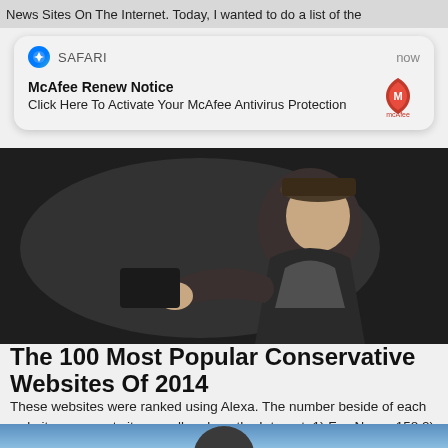News Sites On The Internet. Today, I wanted to do a list of the
[Figure (screenshot): Safari browser push notification from McAfee: 'McAfee Renew Notice — Click Here To Activate Your McAfee Antivirus Protection' with McAfee logo]
[Figure (photo): Black and white/dark photo of a man in a hat and suit holding something, appears to be a film still]
The 100 Most Popular Conservative Websites Of 2014
These websites were ranked using Alexa. The number beside of each website represents its overall rank on the Internet. 1) Fox News: 158 2) Wall Street Journal: ...
[Figure (photo): Bottom portion of another article image showing a person against a blue sky background]